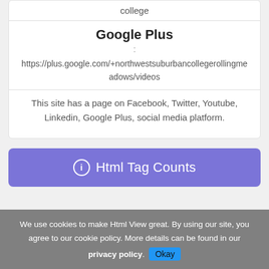college
Google Plus
:
https://plus.google.com/+northwestsuburbancollegerollingmeadows/videos
This site has a page on Facebook, Twitter, Youtube, Linkedin, Google Plus, social media platform.
Html Tag Counts
We use cookies to make Html View great. By using our site, you agree to our cookie policy. More details can be found in our privacy policy. Okay